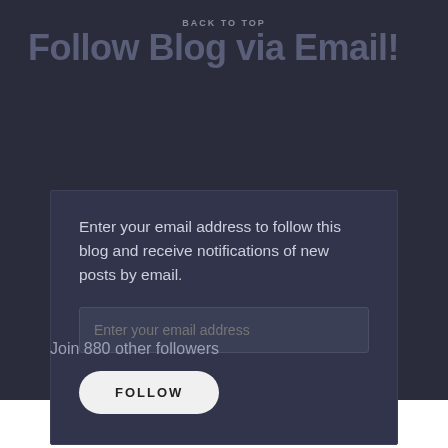BACK TO TOP
Follow Blog via Email!
Enter your email address to follow this blog and receive notifications of new posts by email.
Join 880 other followers